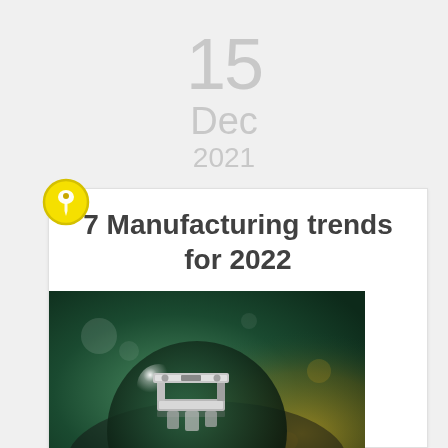15
Dec
2021
[Figure (illustration): Yellow pushpin icon in a circle with yellow border]
7 Manufacturing trends for 2022
[Figure (photo): Close-up photo of a metallic industrial component (bracket/clamp) placed on a dark reflective globe/sphere against a green and golden bokeh background]